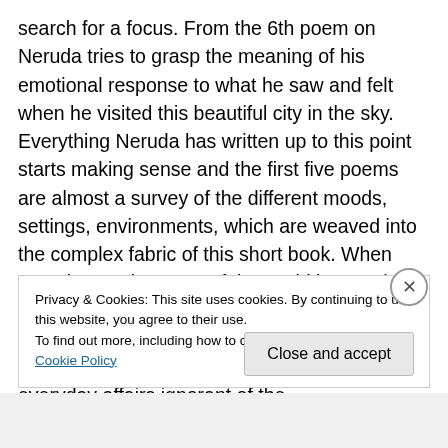search for a focus. From the 6th poem on Neruda tries to grasp the meaning of his emotional response to what he saw and felt when he visited this beautiful city in the sky. Everything Neruda has written up to this point starts making sense and the first five poems are almost a survey of the different moods, settings, environments, which are weaved into the complex fabric of this short book. When Neruda stands on top of the world in Macchou Picchou the natural and human elements became of most importance to him as he sees down below the masses going about their everyday affairs ignorant of the
Privacy & Cookies: This site uses cookies. By continuing to use this website, you agree to their use.
To find out more, including how to control cookies, see here: Cookie Policy
Close and accept